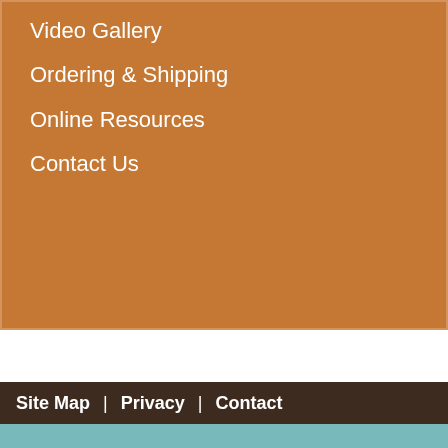Video Gallery
Ordering & Shipping
Online Resources
Contact Us
Site Map  |  Privacy  |  Contact
[Figure (illustration): Log Home Store sign on a wooden post against a teal/blue background, with an Accessibility button in the bottom right]